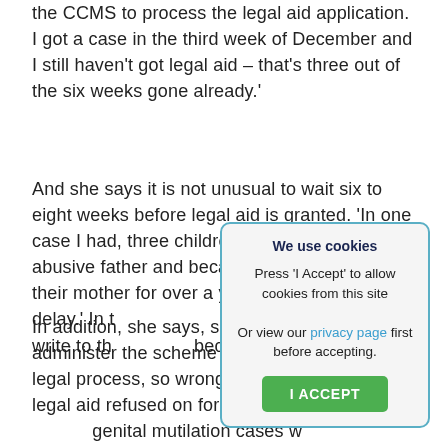the CCMS to process the legal aid application. I got a case in the third week of December and I still haven't got legal aid – that's three out of the six weeks gone already.'
And she says it is not unusual to wait six to eight weeks before legal aid is granted. 'In one case I had, three children were left with their abusive father and became alienated from their mother for over a year because of the delay.' In t[he same case, she] says she had to write to th[e court to explain] because legal aid had not [been granted.]
In addition, she says, som[e of the staff who] administer the scheme lac[k knowledge of the] legal process, so wrongly [assess cases, with] legal aid refused on force[d marriage and female] genital mutilation cases w[here it should be] available because the clie[nt was out of the country
[Figure (screenshot): Cookie consent modal dialog with title 'We use cookies', text 'Press 'I Accept' to allow cookies from this site', 'Or view our privacy page first before accepting.', and a green 'I ACCEPT' button.]